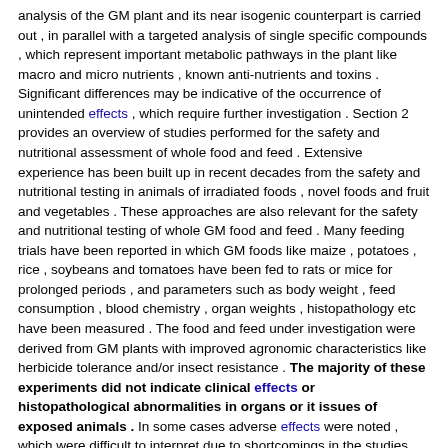analysis of the GM plant and its near isogenic counterpart is carried out , in parallel with a targeted analysis of single specific compounds , which represent important metabolic pathways in the plant like macro and micro nutrients , known anti-nutrients and toxins . Significant differences may be indicative of the occurrence of unintended effects , which require further investigation . Section 2 provides an overview of studies performed for the safety and nutritional assessment of whole food and feed . Extensive experience has been built up in recent decades from the safety and nutritional testing in animals of irradiated foods , novel foods and fruit and vegetables . These approaches are also relevant for the safety and nutritional testing of whole GM food and feed . Many feeding trials have been reported in which GM foods like maize , potatoes , rice , soybeans and tomatoes have been fed to rats or mice for prolonged periods , and parameters such as body weight , feed consumption , blood chemistry , organ weights , histopathology etc have been measured . The food and feed under investigation were derived from GM plants with improved agronomic characteristics like herbicide tolerance and/or insect resistance . The majority of these experiments did not indicate clinical effects or histopathological abnormalities in organs or it issues of exposed animals . In some cases adverse effects were noted , which were difficult to interpret due to shortcomings in the studies . Many studies have also been carried out with feed derived from GM plants with agronomic input traits in target animal species to assess the nutritive value of the feed and their performance potential Studies in sheep , pigs , broilers , lactating dairy cows , and fish , comparing the in vivo bioavailability of nutrients from a range of GM plants with their near isogenic counterpart and commercial varieties , showed that they were comparable with those for near isogenic non-GM lines and commercial varieties . In Section 3 toxicological in vivo , in silico , and in vitro test methods are discussed which may be applied for